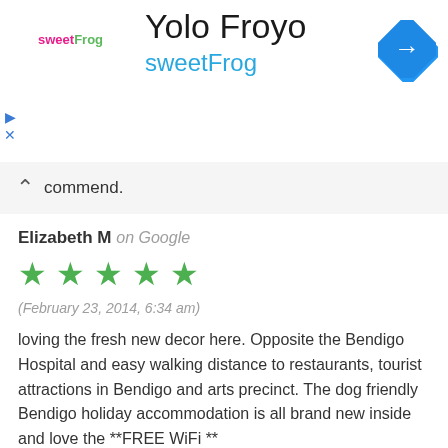[Figure (infographic): Advertisement banner for Yolo Froyo / sweetFrog with logo, text, and navigation icon]
commend.
Elizabeth M on Google
[Figure (infographic): Five green stars rating]
(February 23, 2014, 6:34 am)
loving the fresh new decor here. Opposite the Bendigo Hospital and easy walking distance to restaurants, tourist attractions in Bendigo and arts precinct. The dog friendly Bendigo holiday accommodation is all brand new inside and love the **FREE WiFi **
light refreshments on arrival is lovely too
2 bathrooms, 2 living areas and 3 good size bedrooms.
parking for about 5/6 cars too!
give Bendigo Holiday rentals a call. they have 2 and 3 bedroom houses available for holiday accommodation rental in Bendigo and you will keep coming back